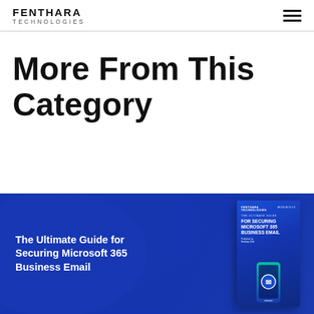FENTHARA TECHNOLOGIES
More From This Category
[Figure (illustration): Blue promotional banner card with text 'The Ultimate Guide for Securing Microsoft 365 Business Email' and a book cover image showing phone with email icon on a blue background, Fenthara Technologies branding.]